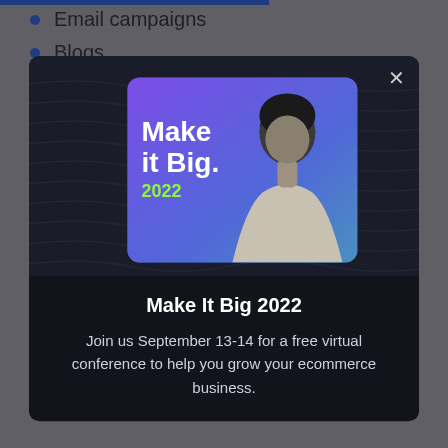Email campaigns
Blogs
[Figure (screenshot): Modal popup for 'Make It Big 2022' conference with dark background, wavy texture, an event promotional image featuring a person and 'Make it Big. 2022' text, and a close button (X) in the top right.]
Make It Big 2022
Join us September 13-14 for a free virtual conference to help you grow your ecommerce business.